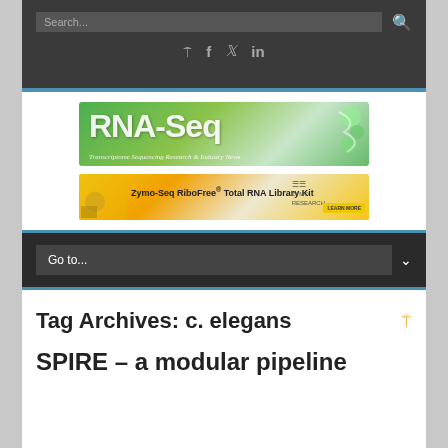Search...
[Figure (logo): RNA-Seq logo with green DNA helix background and text 'Transcriptome Sequencing Research & Industry News']
[Figure (screenshot): Zymo-Seq RiboFree Total RNA Library Kit advertisement banner]
Go to...
Tag Archives: c. elegans
SPIRE – a modular pipeline